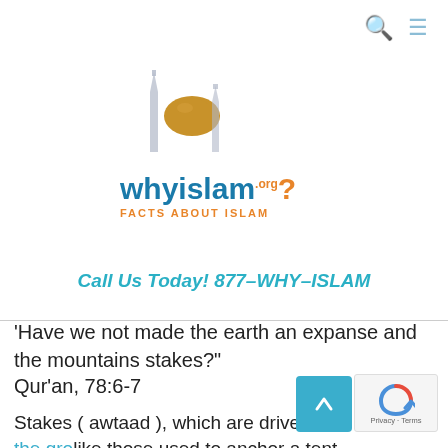[Figure (logo): WhyIslam.org logo with mosque illustration and text 'FACTS ABOUT ISLAM']
Call Us Today! 877-WHY-ISLAM
'Have we not made the earth an expanse and the mountains stakes?'
Qur'an, 78:6-7
Stakes ( awtaad ), which are driven into the ground like those used to anchor a tent, are the deep foundations of geological folds.